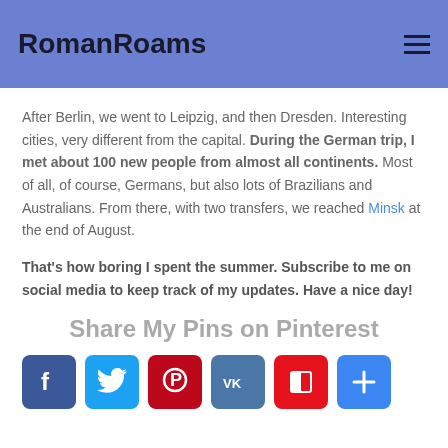RomanRoams
After Berlin, we went to Leipzig, and then Dresden. Interesting cities, very different from the capital. During the German trip, I met about 100 new people from almost all continents. Most of all, of course, Germans, but also lots of Brazilians and Australians. From there, with two transfers, we reached Minsk at the end of August.
That's how boring I spent the summer. Subscribe to me on social media to keep track of my updates. Have a nice day!
Share My Pins on Pinterest
[Figure (other): Row of social media share buttons: Facebook, Twitter, Pinterest, VK, Flipboard, Add/Share]